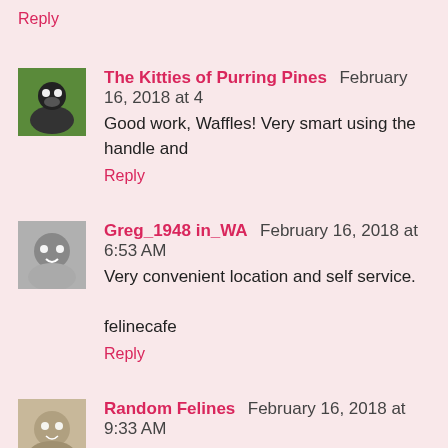Reply
The Kitties of Purring Pines  February 16, 2018 at [time]
Good work, Waffles! Very smart using the handle and
Reply
Greg_1948 in_WA  February 16, 2018 at 6:53 AM
Very convenient location and self service.

felinecafe
Reply
Random Felines  February 16, 2018 at 9:33 AM
uh oh - looks like Glogirly is going to have to inves Waffles (and that lalala picture is hilarious)
Reply